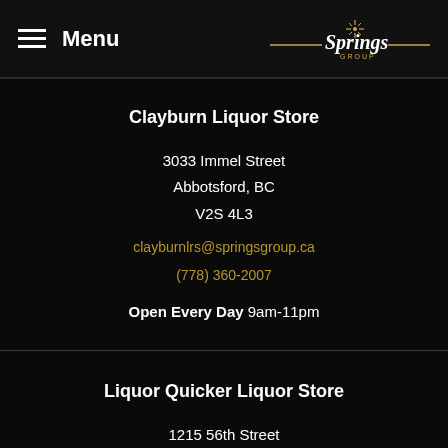Menu — Springs Group
Clayburn Liquor Store
3033 Immel Street
Abbotsford, BC
V2S 4L3
clayburnlrs@springsgroup.ca
(778) 360-2007
Open Every Day 9am-11pm
Liquor Quicker Liquor Store
1215 56th Street
Delta, BC
V4V 2A6